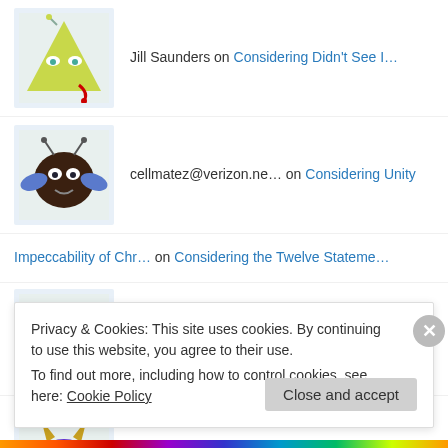Jill Saunders on Considering Didn't See I…
cellmatez@verizon.ne… on Considering Unity
Impeccability of Chr… on Considering the Twelve Stateme…
Bill on Considering the Naked Gospel,….
Bill on Considering the Naked Gospel,….
Privacy & Cookies: This site uses cookies. By continuing to use this website, you agree to their use.
To find out more, including how to control cookies, see here: Cookie Policy